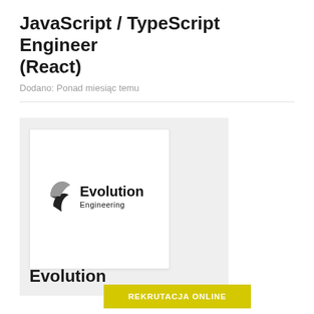JavaScript / TypeScript Engineer (React)
Dodano: Ponad miesiąc temu
[Figure (logo): Evolution Engineering company logo — stylized leaf/chevron icon in grayscale with text 'Evolution Engineering']
Evolution
REKRUTACJA ONLINE